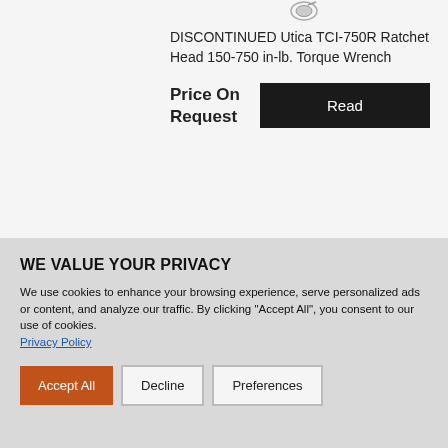[Figure (photo): Partial view of a ratchet torque wrench product image at the top of the page]
DISCONTINUED Utica TCI-750R Ratchet Head 150-750 in-lb. Torque Wrench
Price On Request
Read
WE VALUE YOUR PRIVACY
We use cookies to enhance your browsing experience, serve personalized ads or content, and analyze our traffic. By clicking "Accept All", you consent to our use of cookies. Privacy Policy
Accept All
Decline
Preferences